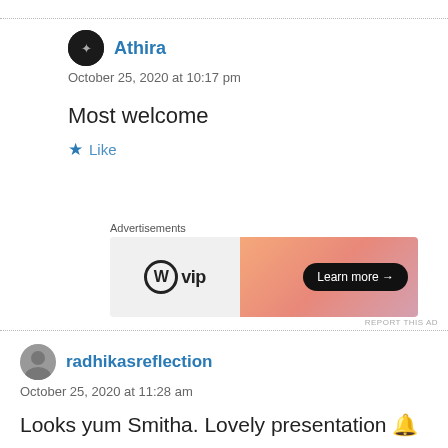Athira
October 25, 2020 at 10:17 pm
Most welcome
Like
[Figure (other): WordPress VIP advertisement banner with 'Learn more →' button on peach/salmon gradient background]
radhikasreflection
October 25, 2020 at 11:28 am
Looks yum Smitha. Lovely presentation 🔔
Like